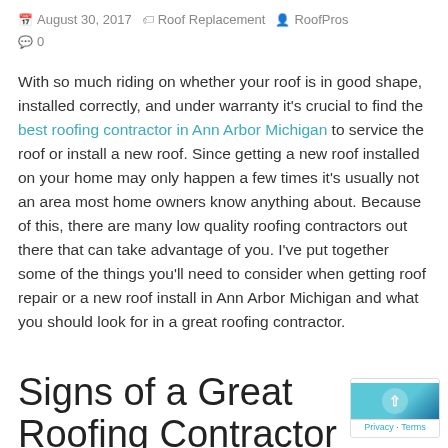August 30, 2017  Roof Replacement  RoofPros  0
With so much riding on whether your roof is in good shape, installed correctly, and under warranty it's crucial to find the best roofing contractor in Ann Arbor Michigan to service the roof or install a new roof. Since getting a new roof installed on your home may only happen a few times it's usually not an area most home owners know anything about. Because of this, there are many low quality roofing contractors out there that can take advantage of you. I've put together some of the things you'll need to consider when getting roof repair or a new roof install in Ann Arbor Michigan and what you should look for in a great roofing contractor.
Signs of a Great Roofing Contractor in Ann Arbor